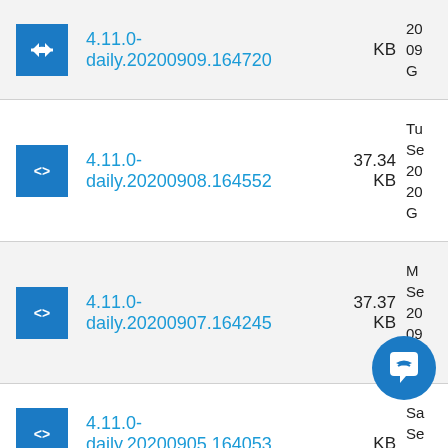4.11.0-daily.20200909.164720 KB
4.11.0-daily.20200908.164552 37.34 KB Tu Se 20 20 G
4.11.0-daily.20200907.164245 37.37 KB Mo Se 20 09 G
4.11.0-daily.20200905.164053 KB Sa Se 20